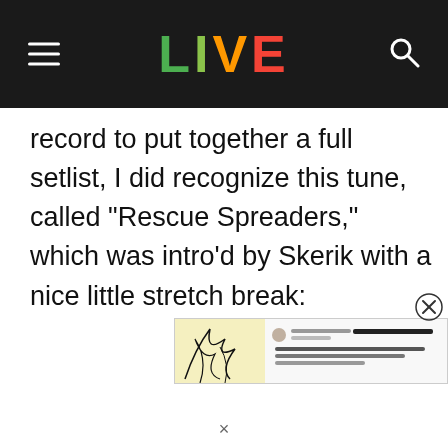LIVE
record to put together a full setlist, I did recognize this tune, called “Rescue Spreaders,” which was intro’d by Skerik with a nice little stretch break:
[Figure (screenshot): Partial advertisement/social media overlay at bottom right of page with illustration and text, with a close (X) button]
×